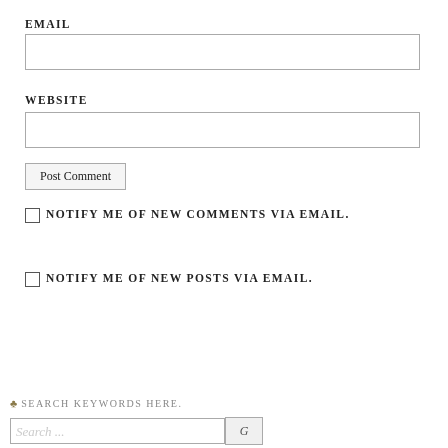EMAIL
[Figure (other): Email input text box]
WEBSITE
[Figure (other): Website input text box]
[Figure (other): Post Comment button]
NOTIFY ME OF NEW COMMENTS VIA EMAIL.
NOTIFY ME OF NEW POSTS VIA EMAIL.
♣ SEARCH KEYWORDS HERE.
[Figure (other): Search input box with search button]